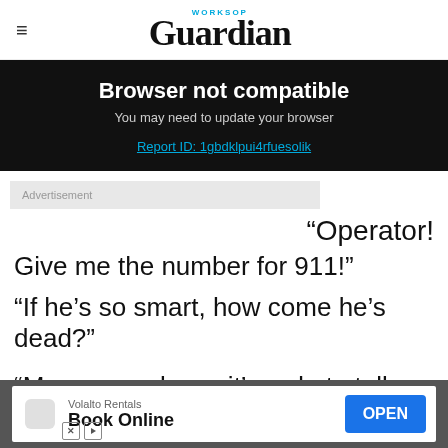WORKSOP Guardian
Browser not compatible
You may need to update your browser
Report ID: 1gbdklpui4rfuesolik
Advertisement
“Operator!
Give me the number for 911!"
"If he's so smart, how come he's dead?"
"Marge, you know it's rude to talk when my mout
[Figure (screenshot): Bottom advertisement banner: Volalto Rentals - Book Online with OPEN button]